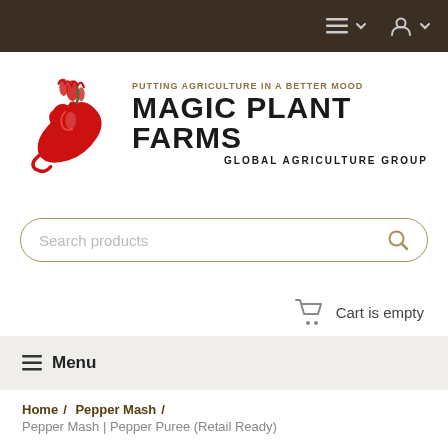Navigation bar with menu and user account icons
[Figure (logo): Magic Plant Farms logo: red chili pepper with flame icon on left, tagline 'PUTTING AGRICULTURE IN A BETTER MOOD', main text 'MAGIC PLANT FARMS', subtext 'GLOBAL AGRICULTURE GROUP']
Search products
Cart is empty
Menu
Home / Pepper Mash / Pepper Mash | Pepper Puree (Retail Ready)